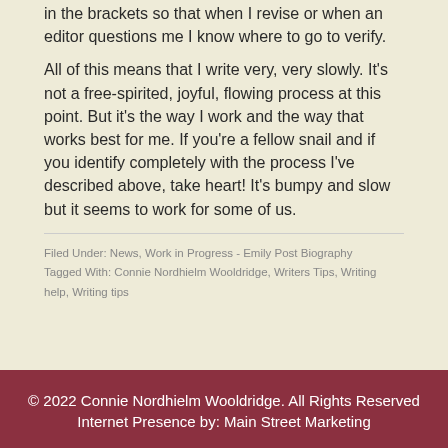in the brackets so that when I revise or when an editor questions me I know where to go to verify.
All of this means that I write very, very slowly. It's not a free-spirited, joyful, flowing process at this point. But it's the way I work and the way that works best for me. If you're a fellow snail and if you identify completely with the process I've described above, take heart! It's bumpy and slow but it seems to work for some of us.
Filed Under: News, Work in Progress - Emily Post Biography
Tagged With: Connie Nordhielm Wooldridge, Writers Tips, Writing help, Writing tips
© 2022 Connie Nordhielm Wooldridge. All Rights Reserved Internet Presence by: Main Street Marketing